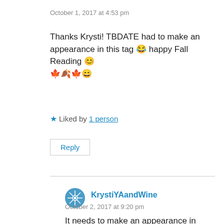October 1, 2017 at 4:53 pm
Thanks Krysti! TBDATE had to make an appearance in this tag 😂 happy Fall Reading 😊 🍁🍂🍁😄
★ Liked by 1 person
Reply
KrystiYAandWine
October 2, 2017 at 9:20 pm
It needs to make an appearance in EVERY tag! 😂 You too, Lilly! ❤